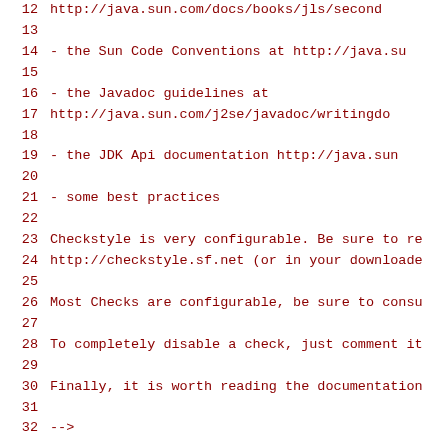12    http://java.sun.com/docs/books/jls/second
13
14      - the Sun Code Conventions at http://java.su
15
16      - the Javadoc guidelines at
17        http://java.sun.com/j2se/javadoc/writingdo
18
19      - the JDK Api documentation http://java.sun
20
21      - some best practices
22
23    Checkstyle is very configurable. Be sure to re
24    http://checkstyle.sf.net (or in your downloade
25
26    Most Checks are configurable, be sure to consu
27
28    To completely disable a check, just comment it
29
30    Finally, it is worth reading the documentation
31
32  -->